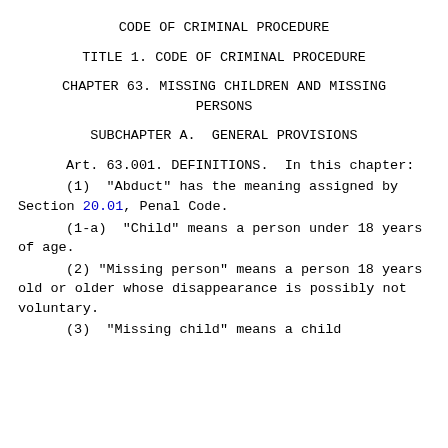CODE OF CRIMINAL PROCEDURE
TITLE 1. CODE OF CRIMINAL PROCEDURE
CHAPTER 63. MISSING CHILDREN AND MISSING PERSONS
SUBCHAPTER A.  GENERAL PROVISIONS
Art. 63.001. DEFINITIONS.  In this chapter:
(1)  "Abduct" has the meaning assigned by Section 20.01, Penal Code.
(1-a)  "Child" means a person under 18 years of age.
(2) "Missing person" means a person 18 years old or older whose disappearance is possibly not voluntary.
(3)  "Missing child" means a child